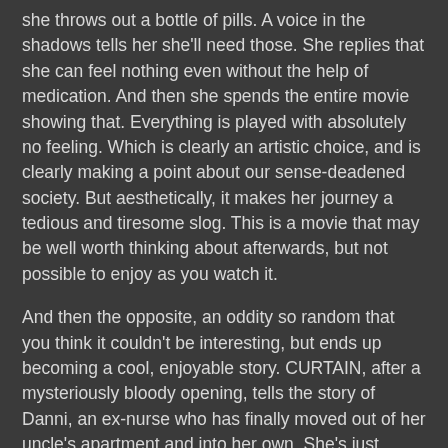she throws out a bottle of pills. A voice in the shadows tells her she'll need those. She replies that she can feel nothing even without the help of medication. And then she spends the entire movie showing that. Everything is played with absolutely no feeling. Which is clearly an artistic choice, and is clearly making a point about our sense-deadened society. But aesthetically, it makes her journey a tedious and tiresome slog. This is a movie that may be well worth thinking about afterwards, but not possible to enjoy as you watch it.
And then the opposite, an oddity so random that you think it couldn't be interesting, but ends up becoming a cool, enjoyable story. CURTAIN, after a mysteriously bloody opening, tells the story of Danni, an ex-nurse who has finally moved out of her uncle's apartment and into her own. She's just setting up, putting in furniture, hanging a shower curtain, etc. And after a nap, when she goes to take a shower, the curtain is gone. Well, this strange and simple premise leads her and her colleague/boyfriend Tim (who mentors her in her job with a save the whales organization) on a strange journey to unlock a portal that leads to...well, the backwoods